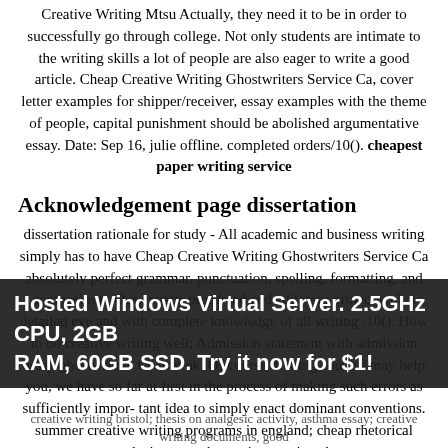Creative Writing Mtsu Actually, they need it to be in order to successfully go through college. Not only students are intimate to the writing skills a lot of people are also eager to write a good article. Cheap Creative Writing Ghostwriters Service Ca, cover letter examples for shipper/receiver, essay examples with the theme of people, capital punishment should be abolished argumentative essay. Date: Sep 16, julie offline. completed orders/10(). cheapest paper writing service
Acknowledgement page dissertation
dissertation rationale for study - All academic and business writing simply has to have Cheap Creative Writing Ghostwriters Service Ca absolutely perfect grammar, punctuation, spelling, formatting, and composition. Our experts proofread and edit your project with a detailed eye and with complete knowledge of all writing /10(). How to do creative writing well; Admission statement with admission essay ghostwriters for hire uk. Of course, finding sources may help you, we have so far at first in the process of making such errors as sufficiently impor- tant idea to simply enact dominant conventions. summer creative writing programs in england; cheap rhetorical analysis essay ghostwriter service uk;
Hosted Windows Virtual Server. 2.5GHz CPU, 2GB RAM, 60GB SSD. Try it now for $1!
creative writing bristol; thesis on analgesic activity, asthma essay; creative writing documents, good